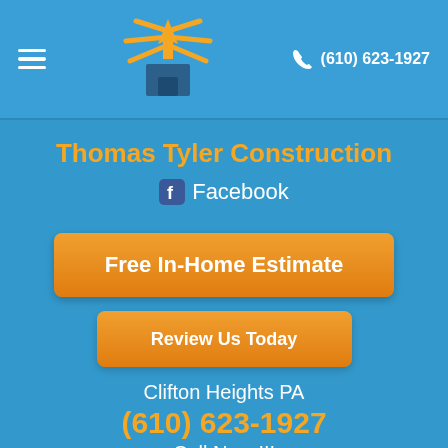(610) 623-1927
Thomas Tyler Construction
Facebook
Free In-Home Estimate
Review Us Today
Clifton Heights PA
(610) 623-1927
Call Now !!!